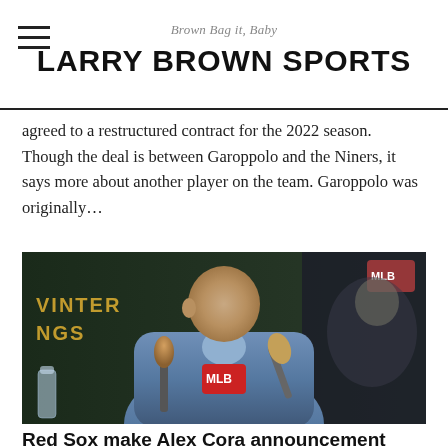Brown Bag it, Baby — LARRY BROWN SPORTS
agreed to a restructured contract for the 2022 season. Though the deal is between Garoppolo and the Niners, it says more about another player on the team. Garoppolo was originally…
[Figure (photo): Man in blue suit jacket speaking at microphones at what appears to be a Winter Meetings MLB press conference setting]
Red Sox make Alex Cora announcement amid last place season